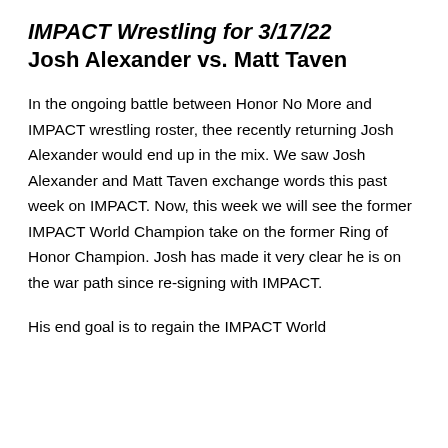IMPACT Wrestling for 3/17/22 Josh Alexander vs. Matt Taven
In the ongoing battle between Honor No More and IMPACT wrestling roster, thee recently returning Josh Alexander would end up in the mix. We saw Josh Alexander and Matt Taven exchange words this past week on IMPACT. Now, this week we will see the former IMPACT World Champion take on the former Ring of Honor Champion. Josh has made it very clear he is on the war path since re-signing with IMPACT.
His end goal is to regain the IMPACT World